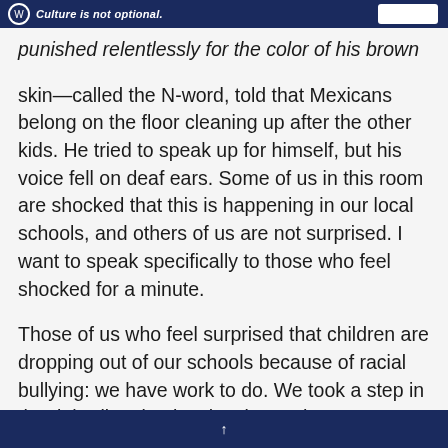Culture is not optional.
punished relentlessly for the color of his brown skin—called the N-word, told that Mexicans belong on the floor cleaning up after the other kids. He tried to speak up for himself, but his voice fell on deaf ears. Some of us in this room are shocked that this is happening in our local schools, and others of us are not surprised. I want to speak specifically to those who feel shocked for a minute.
Those of us who feel surprised that children are dropping out of our schools because of racial bullying: we have work to do. We took a step in the right direction by showing up here
↑